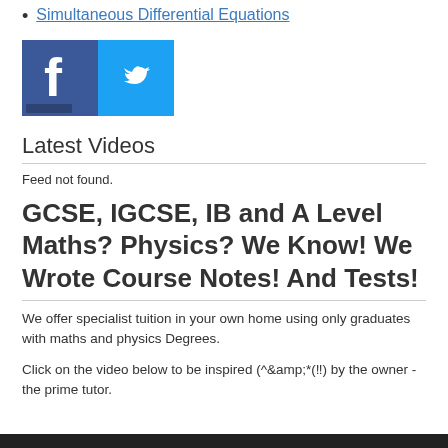Simultaneous Differential Equations
[Figure (illustration): Facebook and Twitter social media icons side by side. Facebook icon is a blue square with white 'f' letter. Twitter icon is a light blue square with white bird logo.]
Latest Videos
Feed not found.
GCSE, IGCSE, IB and A Level Maths? Physics? We Know! We Wrote Course Notes! And Tests!
We offer specialist tuition in your own home using only graduates with maths and physics Degrees.
Click on the video below to be inspired (^&amp;*(‼) by the owner - the prime tutor.